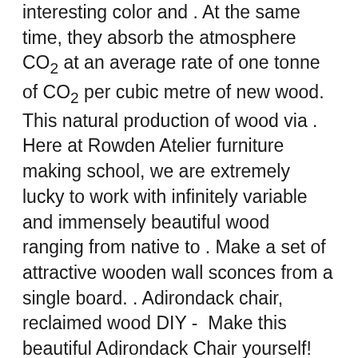interesting color and . At the same time, they absorb the atmosphere CO2 at an average rate of one tonne of CO2 per cubic metre of new wood. This natural production of wood via . Here at Rowden Atelier furniture making school, we are extremely lucky to work with infinitely variable and immensely beautiful wood ranging from native to . Make a set of attractive wooden wall sconces from a single board. . Adirondack chair, reclaimed wood DIY -  Make this beautiful Adirondack Chair yourself! Mar 20, 2019- Attractive Wood Fired Grill Plans #4 -  Wood Outdoor Brick Grills. 10 окт. 2018 г. -  An easy-to-understand introduction to wood; how it's grown, . Knots can make wood look attractive, but they can also weaken its structure. Solid wood is a manifestation of a step in a journey from forest to furniture. Solid wood is honest with a clear finish. The species of solid wood